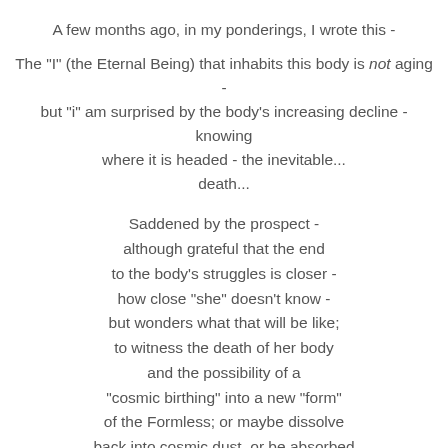A few months ago, in my ponderings, I wrote this -
The "I" (the Eternal Being) that inhabits this body is not aging -
but "i" am surprised by the body's increasing decline -
knowing
where it is headed - the inevitable...
death...
Saddened by the prospect -
although grateful that the end
to the body's struggles is closer -
how close "she" doesn't know -
but wonders what that will be like;
to witness the death of her body
and the possibility of a
"cosmic birthing" into a new "form"
of the Formless; or maybe dissolve
back into cosmic dust, or be absorbed
by the Vastness of the Eternal.
Sentience dissolving into the Eternal...